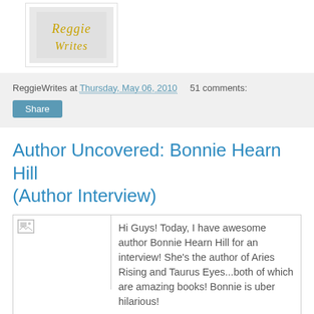[Figure (logo): Blog logo with cursive/handwritten orange text on grey background]
ReggieWrites at Thursday, May 06, 2010    51 comments:
Share
Author Uncovered: Bonnie Hearn Hill (Author Interview)
[Figure (photo): Broken image placeholder for author photo]
Hi Guys! Today, I have awesome author Bonnie Hearn Hill for an interview! She's the author of Aries Rising and Taurus Eyes...both of which are amazing books! Bonnie is uber hilarious!